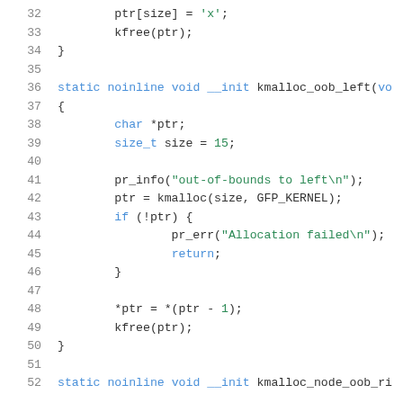Source code listing, lines 32-52, showing C kernel code with kmalloc_oob_left and kmalloc_node_oob_ri functions